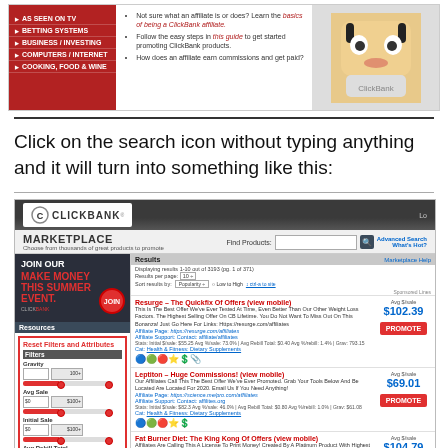[Figure (screenshot): ClickBank website screenshot showing navigation menu with red sidebar items (AS SEEN ON TV, BETTING SYSTEMS, BUSINESS/INVESTING, COMPUTERS/INTERNET, COOKING FOOD & WINE), center content about learning affiliate marketing, and a cartoon face on the right.]
Click on the search icon without typing anything and it will turn into something like this:
[Figure (screenshot): ClickBank Marketplace screenshot showing the header with ClickBank logo, Marketplace section with search bar, left sidebar with Join Our Make Money This Summer Event ad and filter options (Gravity, Avg Sale, Initial Sale, Avg Rebill Total), and product listings including Resurge, Leptiton, and Fat Burner Diet with average sale prices $102.39, $69.01, $104.79 and PROMOTE buttons.]